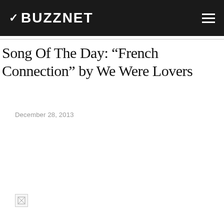BUZZNET
Song Of The Day: “French Connection” by We Were Lovers
December 28, 2013
[Figure (photo): Broken image placeholder]